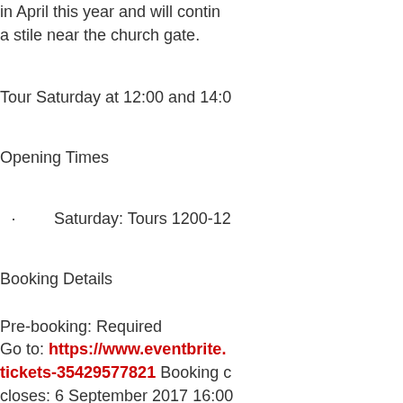in April this year and will continue near the church gate.
Tour Saturday at 12:00 and 14:0
Opening Times
Saturday: Tours 1200-12
Booking Details
Pre-booking: Required
Go to: https://www.eventbrite. tickets-35429577821  Booking closes: 6 September 2017 16:00
Access Information
Please note that the field can only be accessible for wheelchairs.
Additional information